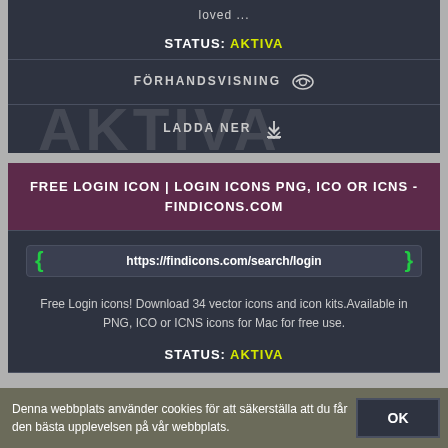loved ...
STATUS: AKTIVA
FÖRHANDSVISNING
LADDA NER
FREE LOGIN ICON | LOGIN ICONS PNG, ICO OR ICNS - FINDICONS.COM
https://findicons.com/search/login
Free Login icons! Download 34 vector icons and icon kits.Available in PNG, ICO or ICNS icons for Mac for free use.
STATUS: AKTIVA
Denna webbplats använder cookies för att säkerställa att du får den bästa upplevelsen på vår webbplats.